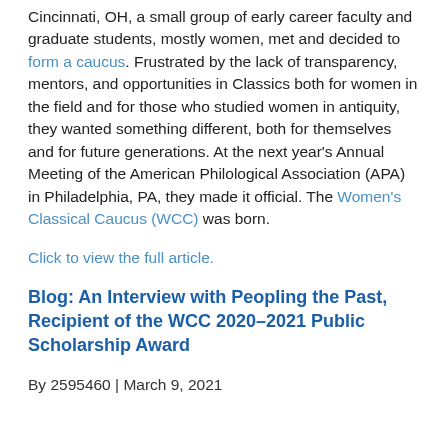Cincinnati, OH, a small group of early career faculty and graduate students, mostly women, met and decided to form a caucus. Frustrated by the lack of transparency, mentors, and opportunities in Classics both for women in the field and for those who studied women in antiquity, they wanted something different, both for themselves and for future generations. At the next year's Annual Meeting of the American Philological Association (APA) in Philadelphia, PA, they made it official. The Women's Classical Caucus (WCC) was born.
Click to view the full article.
Blog: An Interview with Peopling the Past, Recipient of the WCC 2020–2021 Public Scholarship Award
By 2595460 | March 9, 2021